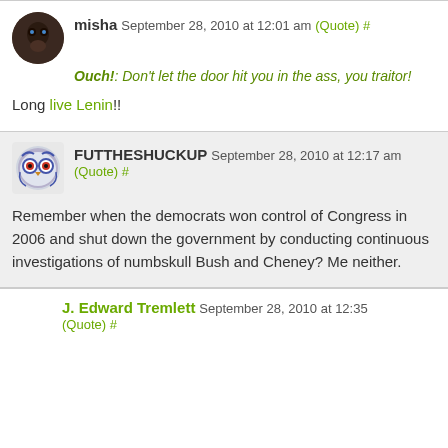misha September 28, 2010 at 12:01 am (Quote) #
Ouch!: Don't let the door hit you in the ass, you traitor!
Long live Lenin!!
FUTTHESHUCKUP September 28, 2010 at 12:17 am (Quote) #
Remember when the democrats won control of Congress in 2006 and shut down the government by conducting continuous investigations of numbskull Bush and Cheney? Me neither.
J. Edward Tremlett September 28, 2010 at 12:35